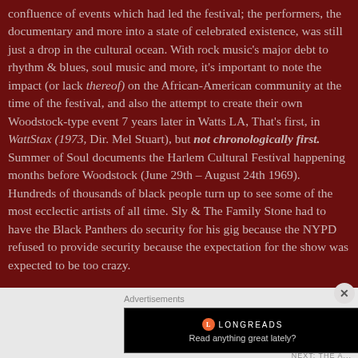confluence of events which had led the festival; the performers, the documentary and more into a state of celebrated existence, was still just a drop in the cultural ocean. With rock music's major debt to rhythm & blues, soul music and more, it's important to note the impact (or lack thereof) on the African-American community at the time of the festival, and also the attempt to create their own Woodstock-type event 7 years later in Watts LA, That's first, in WattStax (1973, Dir. Mel Stuart), but not chronologically first. Summer of Soul documents the Harlem Cultural Festival happening months before Woodstock (June 29th – August 24th 1969). Hundreds of thousands of black people turn up to see some of the most ecclectic artists of all time. Sly & The Family Stone had to have the Black Panthers do security for his gig because the NYPD refused to provide security because the expectation for the show was expected to be too crazy.
Advertisements
[Figure (other): Longreads advertisement banner with black background, Longreads logo and text 'Read anything great lately?']